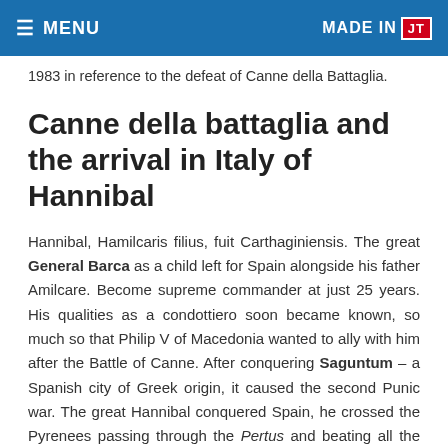≡ MENU   MADE IN JT
1983 in reference to the defeat of Canne della Battaglia.
Canne della battaglia and the arrival in Italy of Hannibal
Hannibal, Hamilcaris filius, fuit Carthaginiensis. The great General Barca as a child left for Spain alongside his father Amilcare. Become supreme commander at just 25 years. His qualities as a condottiero soon became known, so much so that Philip V of Macedonia wanted to ally with him after the Battle of Canne. After conquering Saguntum – a Spanish city of Greek origin, it caused the second Punic war. The great Hannibal conquered Spain, he crossed the Pyrenees passing through the Pertus and beating all the Pyrenean peoples who opposed him. Finally it reaches